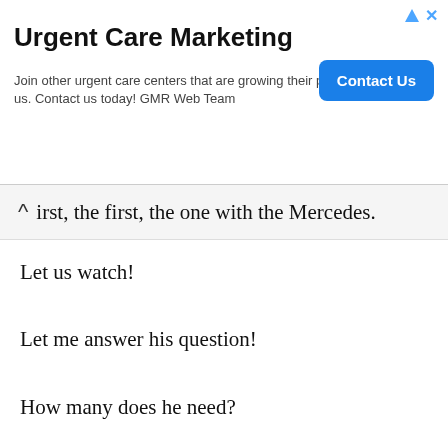[Figure (other): Advertisement banner for Urgent Care Marketing by GMR Web Team with a 'Contact Us' button]
...first, the first, the one with the Mercedes.
Let us watch!
Let me answer his question!
How many does he need?